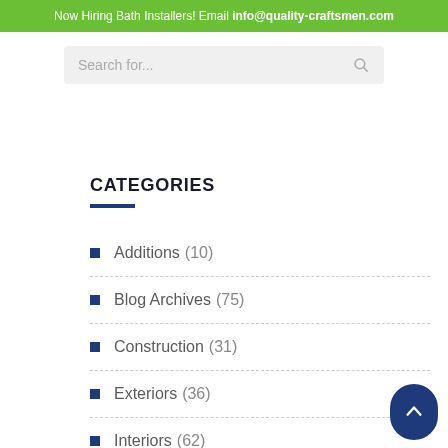Now Hiring Bath Installers! Email info@quality-craftsmen.com
Search for...
CATEGORIES
Additions (10)
Blog Archives (75)
Construction (31)
Exteriors (36)
Interiors (62)